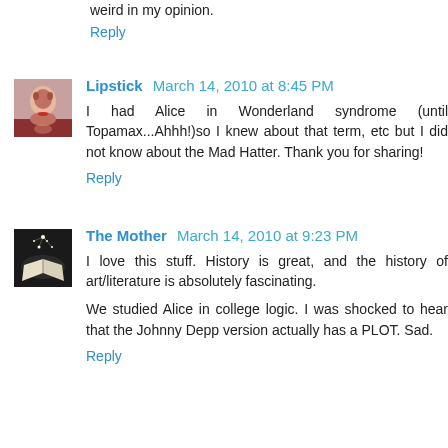weird in my opinion.
Reply
Lipstick  March 14, 2010 at 8:45 PM
I had Alice in Wonderland syndrome (until Topamax...Ahhh!)so I knew about that term, etc but I did not know about the Mad Hatter. Thank you for sharing!
Reply
The Mother  March 14, 2010 at 9:23 PM
I love this stuff. History is great, and the history of art/literature is absolutely fascinating.
We studied Alice in college logic. I was shocked to hear that the Johnny Depp version actually has a PLOT. Sad.
Reply